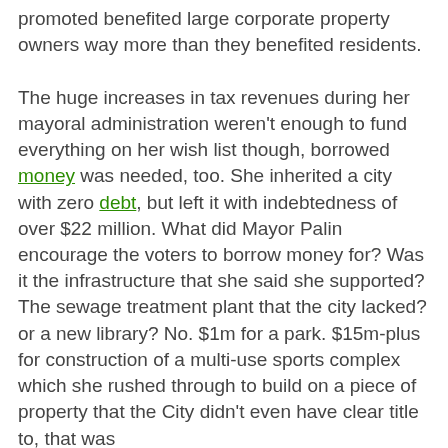promoted benefited large corporate property owners way more than they benefited residents.

The huge increases in tax revenues during her mayoral administration weren't enough to fund everything on her wish list though, borrowed money was needed, too. She inherited a city with zero debt, but left it with indebtedness of over $22 million. What did Mayor Palin encourage the voters to borrow money for? Was it the infrastructure that she said she supported? The sewage treatment plant that the city lacked? or a new library? No. $1m for a park. $15m-plus for construction of a multi-use sports complex which she rushed through to build on a piece of property that the City didn't even have clear title to, that was